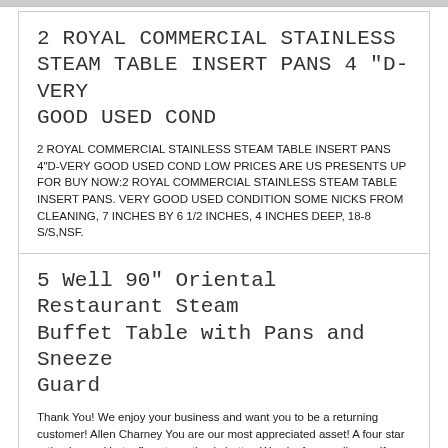2 ROYAL COMMERCIAL STAINLESS STEAM TABLE INSERT PANS 4 "D-VERY GOOD USED COND
2 ROYAL COMMERCIAL STAINLESS STEAM TABLE INSERT PANS 4"D-VERY GOOD USED COND LOW PRICES ARE US PRESENTS UP FOR BUY NOW:2 ROYAL COMMERCIAL STAINLESS STEAM TABLE INSERT PANS. VERY GOOD USED CONDITION SOME NICKS FROM CLEANING, 7 INCHES BY 6 1/2 INCHES, 4 INCHES DEEP, 18-8 S/S,NSF.
5 Well 90" Oriental Restaurant Steam Buffet Table with Pans and Sneeze Guard
Thank You! We enjoy your business and want you to be a returning customer! Allen Charney You are our most appreciated asset! A four star rating is good but a five star rating is better. We aim for excellence. If there is any reason you feel that you didn't receive the best in service please call us at(616) 827-6400(616) 827.6400 Hablamos Español PRODUCT DESCRIPTION 90" Oriental Restaurant Steam Buffet Table with Pans 4 Wells. Come with pans(see pics) Overall dimensions: 90"W x 40"D x 66"H. Call us for a shipping quote(616) 827-6400 Hablamos Español COMMENTS Ready to go for many. Many years of service! Everything that you see in the picture is the actual item(s) for sale. Please read our Terms and Conditions very carefully SHIPPING